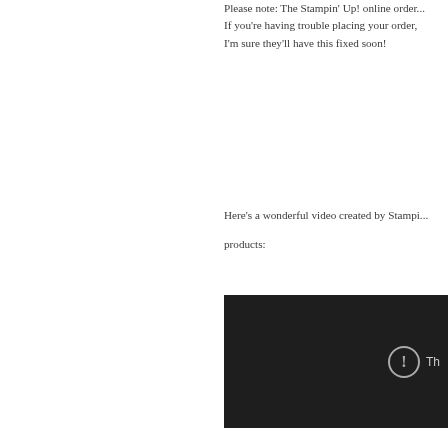Please note: The Stampin' Up! online order... If you're having trouble placing your order, I'm sure they'll have this fixed soon!
Here's a wonderful video created by Stampi... products:
[Figure (screenshot): Embedded video player with dark background showing an error icon (exclamation mark in circle) and partial error text starting with 'Th']
And why not add on some of the current pro...